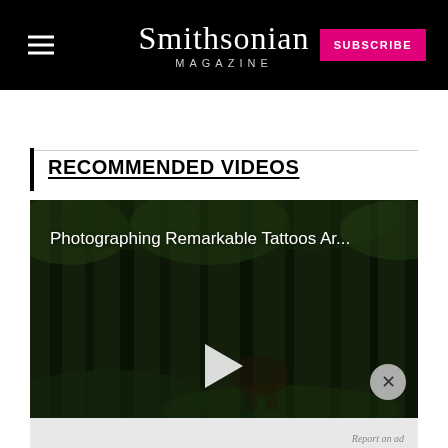Smithsonian Magazine — SUBSCRIBE
RECOMMENDED VIDEOS
[Figure (screenshot): Video thumbnail showing a jungle/forest scene with the title 'Photographing Remarkable Tattoos Ar...' overlaid in white text, with a play button in the center and a close button in the lower right]
Report an ad